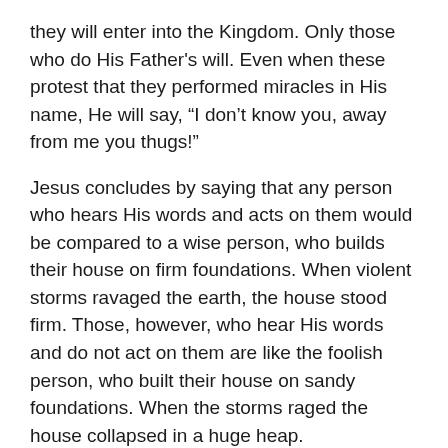they will enter into the Kingdom. Only those who do His Father's will. Even when these protest that they performed miracles in His name, He will say, “I don’t know you, away from me you thugs!”
Jesus concludes by saying that any person who hears His words and acts on them would be compared to a wise person, who builds their house on firm foundations. When violent storms ravaged the earth, the house stood firm. Those, however, who hear His words and do not act on them are like the foolish person, who built their house on sandy foundations. When the storms raged the house collapsed in a huge heap.
The crowds below observed that Jesus did not teach like the teachers of their day, but as a person who had authority.